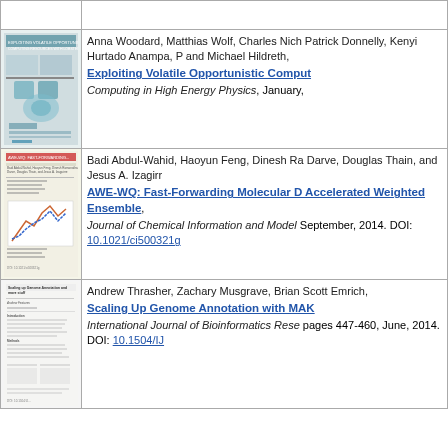[Figure (screenshot): Stub top entry thumbnail placeholder]
[Figure (screenshot): Thumbnail of paper: Exploiting Volatile Opportunistic Computing with Lobster]
Anna Woodard, Matthias Wolf, Charles Nich Patrick Donnelly, Kenyi Hurtado Anampa, P and Michael Hildreth,
Exploiting Volatile Opportunistic Comput
Computing in High Energy Physics, January,
[Figure (screenshot): Thumbnail of paper: AWE-WQ Fast-Forwarding Molecular Dynamics with Accelerated Weighted Ensemble]
Badi Abdul-Wahid, Haoyun Feng, Dinesh Ra Darve, Douglas Thain, and Jesus A. Izagirr
AWE-WQ: Fast-Forwarding Molecular D Accelerated Weighted Ensemble,
Journal of Chemical Information and Model September, 2014. DOI: 10.1021/ci500321g
[Figure (screenshot): Thumbnail of paper: Scaling Up Genome Annotation with MAKER]
Andrew Thrasher, Zachary Musgrave, Brian Scott Emrich,
Scaling Up Genome Annotation with MAK
International Journal of Bioinformatics Rese pages 447-460, June, 2014. DOI: 10.1504/IJ